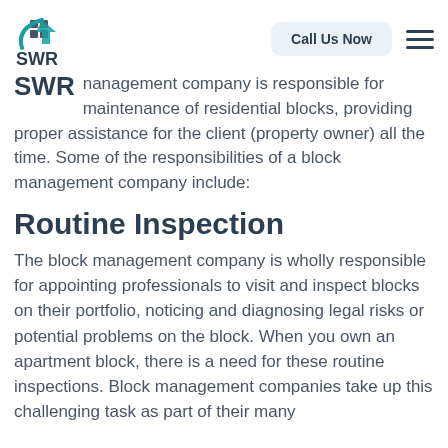[Figure (logo): SWR company logo with a house icon and teal swoosh/arrow shape, with SWR text below]
management company is responsible for maintenance of residential blocks, providing proper assistance for the client (property owner) all the time. Some of the responsibilities of a block management company include:
Routine Inspection
The block management company is wholly responsible for appointing professionals to visit and inspect blocks on their portfolio, noticing and diagnosing legal risks or potential problems on the block. When you own an apartment block, there is a need for these routine inspections. Block management companies take up this challenging task as part of their many